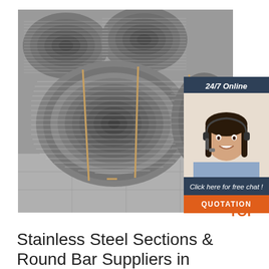[Figure (photo): Large coils of stainless steel wire rod stacked in a warehouse/storage facility, showing tightly wound metallic wire in circular bundles]
[Figure (infographic): 24/7 Online chat widget overlay with dark blue background showing text '24/7 Online', a photo of a smiling woman with a headset, text 'Click here for free chat!', and an orange button labeled 'QUOTATION']
[Figure (logo): TOP logo with orange dots arranged in an arc above the word TOP in orange bold text]
Stainless Steel Sections & Round Bar Suppliers in